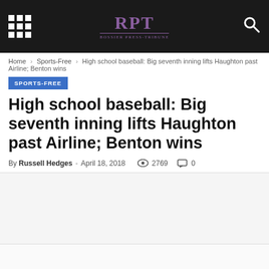RPT Bossier Press-Tribune
Home › Sports-Free › High school baseball: Big seventh inning lifts Haughton past Airline; Benton wins
SPORTS-FREE
High school baseball: Big seventh inning lifts Haughton past Airline; Benton wins
By Russell Hedges - April 18, 2018  2769  0